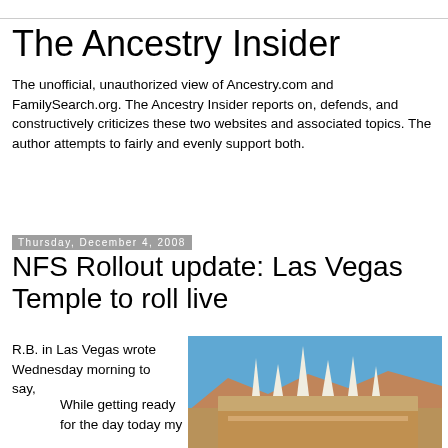The Ancestry Insider
The unofficial, unauthorized view of Ancestry.com and FamilySearch.org. The Ancestry Insider reports on, defends, and constructively criticizes these two websites and associated topics. The author attempts to fairly and evenly support both.
Thursday, December 4, 2008
NFS Rollout update: Las Vegas Temple to roll live
R.B. in Las Vegas wrote Wednesday morning to say,
While getting ready for the day today my
[Figure (photo): Photo of the Las Vegas LDS Temple showing white spires against a blue sky with mountains in the background]